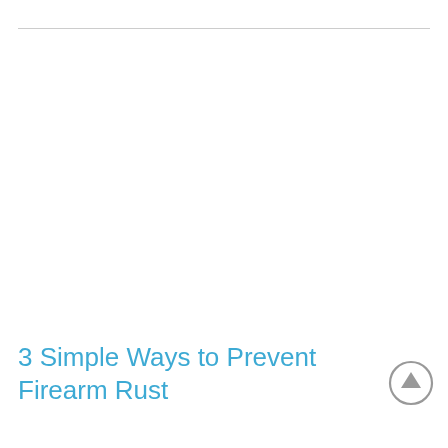3 Simple Ways to Prevent Firearm Rust